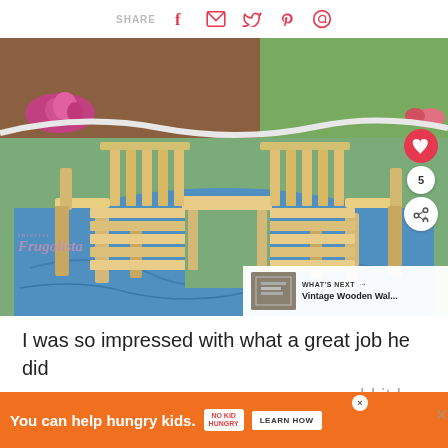SHARE
[Figure (photo): A natural wood outdoor bench with a built-in center table, sitting on a blue tarp in a garden setting. The bench has slatted seating and back, armrests on both sides. Flowers and green grass visible in background. Interior Frugalista watermark visible. Heart button and share count overlay on right side. 'What's Next' panel showing Vintage Wooden Wal... thumbnail in bottom right corner.]
I was so impressed with what a great job he did rep... would it b...
[Figure (infographic): Orange advertisement banner: 'You can help hungry kids.' with No Kid Hungry logo and 'LEARN HOW' button]